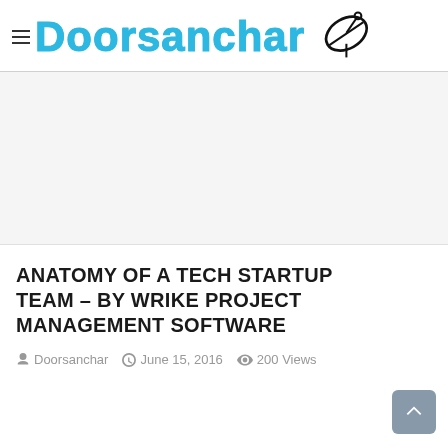Doorsanchar
[Figure (other): White advertisement/banner placeholder area]
ANATOMY OF A TECH STARTUP TEAM – BY WRIKE PROJECT MANAGEMENT SOFTWARE
Doorsanchar   June 15, 2016   200 Views